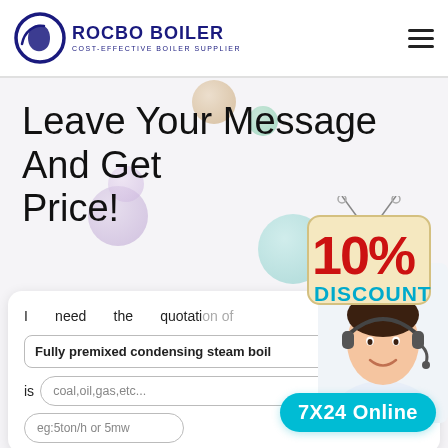[Figure (logo): Rocbo Boiler logo with circular icon and company name in dark blue, tagline: COST-EFFECTIVE BOILER SUPPLIER]
Leave Your Message And Get Price!
[Figure (illustration): 10% DISCOUNT badge/sticker with red and teal text]
[Figure (photo): Customer service representative wearing headset, smiling]
I need the quotation of
Fully premixed condensing steam boil
is  coal,oil,gas,etc... , this boilers
eg:5ton/h or 5mw
7X24 Online